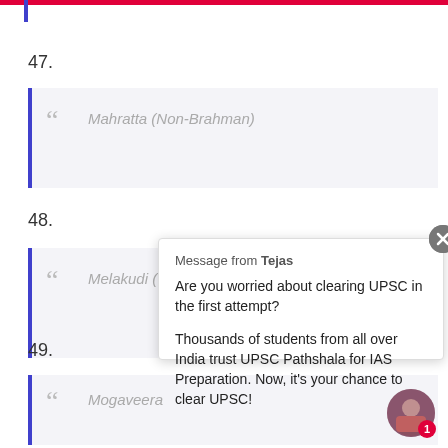47.
Mahratta (Non-Brahman)
48.
Melakudi (
49.
Mogaveera
Message from Tejas
Are you worried about clearing UPSC in the first attempt?
Thousands of students from all over India trust UPSC Pathshala for IAS Preparation. Now, it's your chance to clear UPSC!